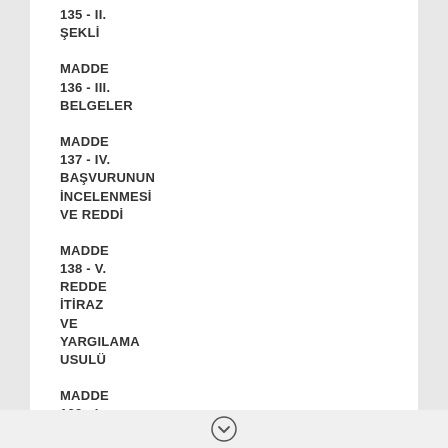135 - II. ŞEKLİ
MADDE 136 - III. BELGELER
MADDE 137 - IV. BAŞVURUNUN İNCELENMESİ VE REDDİ
MADDE 138 - V. REDDE İTİRAZ VE YARGILAMA USULÜ
MADDE 139 - I.